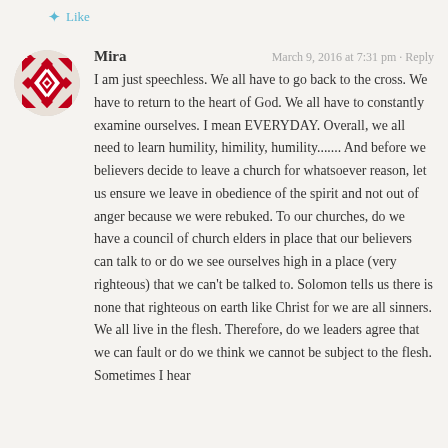Like
[Figure (illustration): Red geometric patterned avatar icon, circular shape with diamond/cross pattern in red and white]
Mira
March 9, 2016 at 7:31 pm · Reply
I am just speechless. We all have to go back to the cross. We have to return to the heart of God. We all have to constantly examine ourselves. I mean EVERYDAY. Overall, we all need to learn humility, himility, humility....... And before we believers decide to leave a church for whatsoever reason, let us ensure we leave in obedience of the spirit and not out of anger because we were rebuked. To our churches, do we have a council of church elders in place that our believers can talk to or do we see ourselves high in a place (very righteous) that we can't be talked to. Solomon tells us there is none that righteous on earth like Christ for we are all sinners. We all live in the flesh. Therefore, do we leaders agree that we can fault or do we think we cannot be subject to the flesh. Sometimes I hear